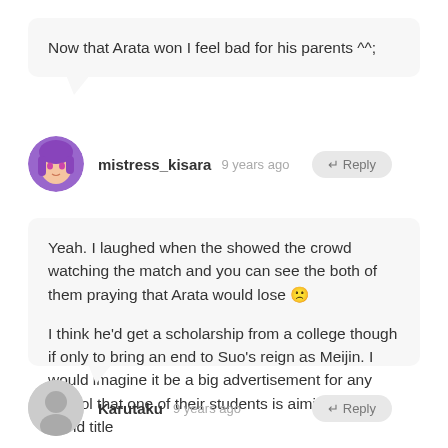Now that Arata won I feel bad for his parents ^^;
mistress_kisara  9 years ago
Yeah. I laughed when the showed the crowd watching the match and you can see the both of them praying that Arata would lose 😧

I think he'd get a scholarship from a college though if only to bring an end to Suo's reign as Meijin. I would imagine it be a big advertisement for any school that one of their students is aiming for the world title
Karutaku  9 years ago